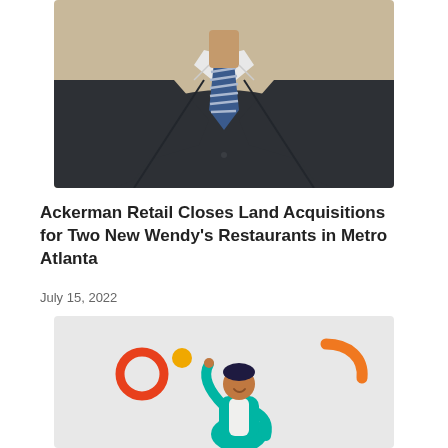[Figure (photo): A man in a dark charcoal suit with a blue and white striped tie, cropped to show neck/chest/shoulder area, photographed against a light background]
Ackerman Retail Closes Land Acquisitions for Two New Wendy's Restaurants in Metro Atlanta
July 15, 2022
[Figure (illustration): A flat vector illustration on a light gray background showing a person in teal/turquoise top with dark hair pointing upward, surrounded by orange circle outline, yellow dot, and orange curved shape decorative elements]